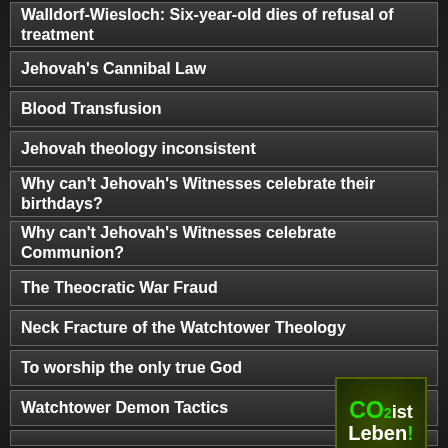Walldorf-Wiesloch: Six-year-old dies of refusal of treatment
Jehovah's Cannibal Law
Blood Transfusion
Jehovah theology inconsistent
Why can't Jehovah's Witnesses celebrate their birthdays?
Why can't Jehovah's Witnesses celebrate Communion?
The Theocratic War Fraud
Neck Fracture of the Watchtower Theology
To worship the only true God
Watchtower Demon Tactics
[Figure (logo): CO2 ist Leben! badge - green text on dark green/brown background with leaf texture]